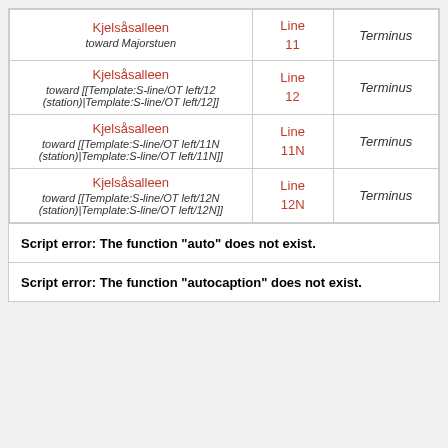| Station | Line | Direction |
| --- | --- | --- |
| Kjelsåsalleen
toward Majorstuen | Line 11 | Terminus |
| Kjelsåsalleen
toward [[Template:S-line/OT left/12 (station)|Template:S-line/OT left/12]] | Line 12 | Terminus |
| Kjelsåsalleen
toward [[Template:S-line/OT left/11N (station)|Template:S-line/OT left/11N]] | Line 11N | Terminus |
| Kjelsåsalleen
toward [[Template:S-line/OT left/12N (station)|Template:S-line/OT left/12N]] | Line 12N | Terminus |
Script error: The function "auto" does not exist.
Script error: The function "autocaption" does not exist.